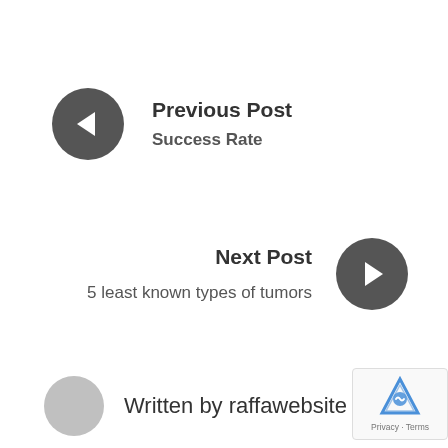Previous Post
Success Rate
Next Post
5 least known types of tumors
Written by raffawebsite